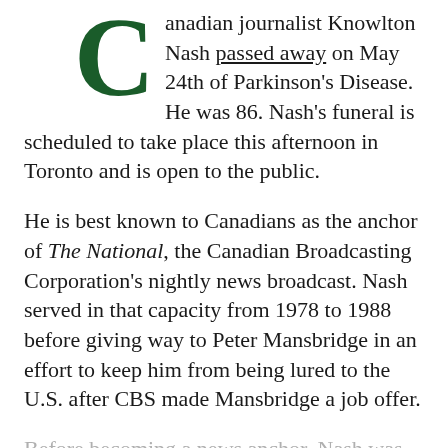Canadian journalist Knowlton Nash passed away on May 24th of Parkinson's Disease. He was 86. Nash's funeral is scheduled to take place this afternoon in Toronto and is open to the public.
He is best known to Canadians as the anchor of The National, the Canadian Broadcasting Corporation's nightly news broadcast. Nash served in that capacity from 1978 to 1988 before giving way to Peter Mansbridge in an effort to keep him from being lured to the U.S. after CBS made Mansbridge a job offer.
Before becoming a news anchor, Nash was both a print and broadcast journalist. He spent many years as the CBC's Washington correspondent and